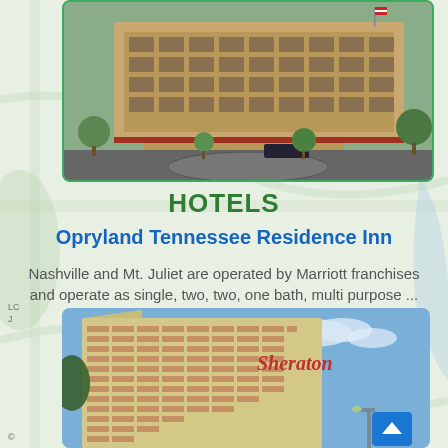[Figure (photo): Exterior photo of a large tan/beige multi-story hotel building with a parking lot in front, trees, and a curved driveway]
HOTELS
Opryland Tennessee Residence Inn
Nashville and Mt. Juliet are operated by Marriott franchises and operate as single, two, two, one bath, multi purpose ...
[Figure (photo): Exterior photo of a tall Sheraton hotel tower against a blue sky, with red Sheraton logo at top, and multiple floors of windows visible]